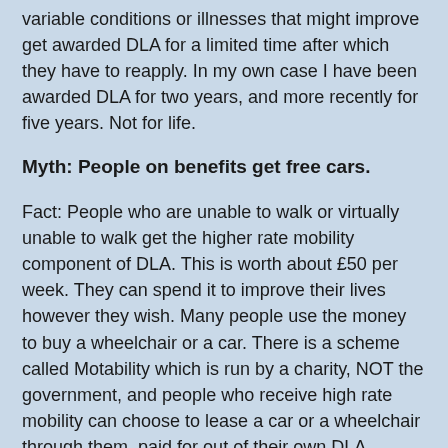variable conditions or illnesses that might improve get awarded DLA for a limited time after which they have to reapply. In my own case I have been awarded DLA for two years, and more recently for five years. Not for life.
Myth: People on benefits get free cars.
Fact: People who are unable to walk or virtually unable to walk get the higher rate mobility component of DLA. This is worth about £50 per week. They can spend it to improve their lives however they wish. Many people use the money to buy a wheelchair or a car. There is a scheme called Motability which is run by a charity, NOT the government, and people who receive high rate mobility can choose to lease a car or a wheelchair through them, paid for out of their own DLA.
The Motability scheme (remember, paid for by people who use it) purchases new cars and leases them to its customers. Most customers pay the entire £50 per week of their mobility allowance to the Motability scheme for three years to lease the car. That is £7,800 in total. At the end of the lease the car is sold. If the payments and the sale price